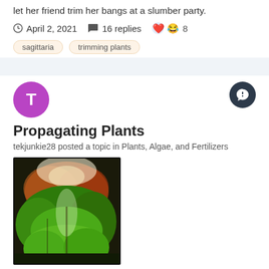let her friend trim her bangs at a slumber party.
April 2, 2021   16 replies   8
sagittaria
trimming plants
Propagating Plants
tekjunkie28 posted a topic in Plants, Algae, and Fertilizers
[Figure (photo): An aquarium aquascape with dense green plants, reddish plants in background, bright light from above, natural planted tank.]
Which plants can I cut off that have grown to long and replant them? How do I trim plants? Is there an article or